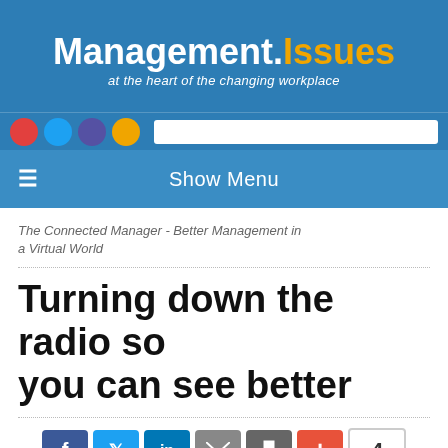Management.Issues — at the heart of the changing workplace
Show Menu
The Connected Manager - Better Management in a Virtual World
Turning down the radio so you can see better